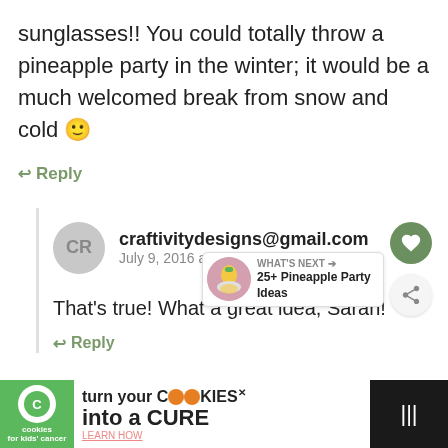sunglasses!! You could totally throw a pineapple party in the winter; it would be a much welcomed break from snow and cold 🙂
↩ Reply
craftivitydesigns@gmail.com
July 9, 2016 at 05:47 PM
That's true! What a great idea, Sarah!
↩ Reply
[Figure (screenshot): What's Next panel showing 25+ Pineapple Party Ideas]
[Figure (infographic): Advertisement: cookies for kids cancer — turn your cookies into a CURE LEARN HOW]